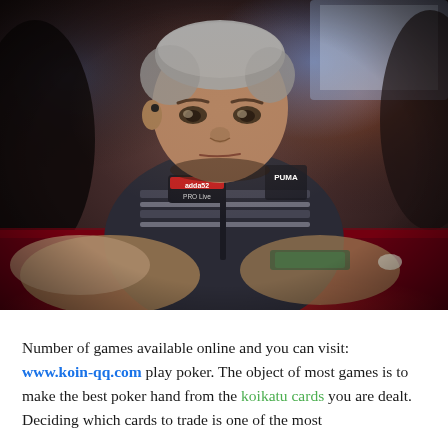[Figure (photo): A poker player, a middle-aged man with short gray hair, wearing a dark striped zip-up jacket with 'adda52 PRO Live' and Puma logos, sitting at a poker table with a red felt surface. Other players are partially visible. The man is looking down at the table with a serious expression.]
Number of games available online and you can visit: www.koin-qq.com play poker. The object of most games is to make the best poker hand from the koikatu cards you are dealt. Deciding which cards to trade is one of the most